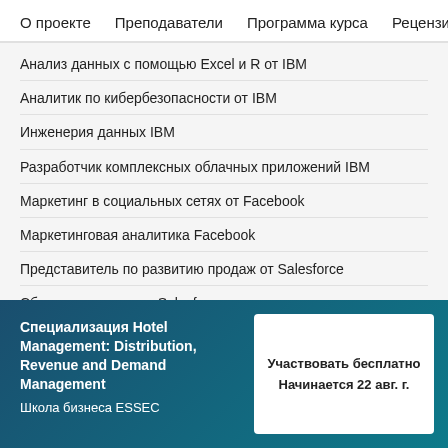О проекте   Преподаватели   Программа курса   Рецензи
Анализ данных с помощью Excel и R от IBM
Аналитик по кибербезопасности от IBM
Инженерия данных IBM
Разработчик комплексных облачных приложений IBM
Маркетинг в социальных сетях от Facebook
Маркетинговая аналитика Facebook
Представитель по развитию продаж от Salesforce
Сбытовые операции Salesforce
Бухгалтерия от 'Интуит'
Подготовка к сертификации Google Cloud: облачный
Специализация Hotel Management: Distribution, Revenue and Demand Management
Школа бизнеса ESSEC
Участвовать бесплатно
Начинается 22 авг. г.